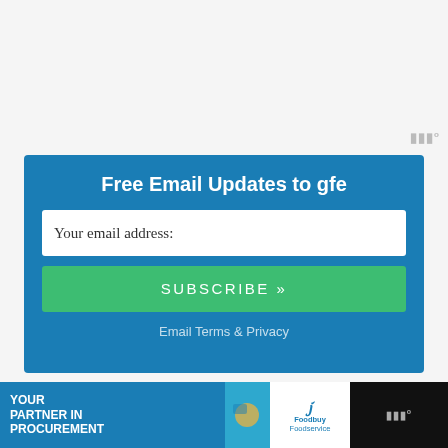[Figure (other): Gray empty top area with a watermark symbol in bottom-right corner]
Free Email Updates to gfe
Your email address:
SUBSCRIBE »
Email Terms & Privacy
[Figure (other): Bottom advertisement banner: dark background with 'YOUR PARTNER IN PROCUREMENT' text on blue left panel, Foodbuy Foodservice logo in center white panel, and a watermark symbol on the right dark panel]